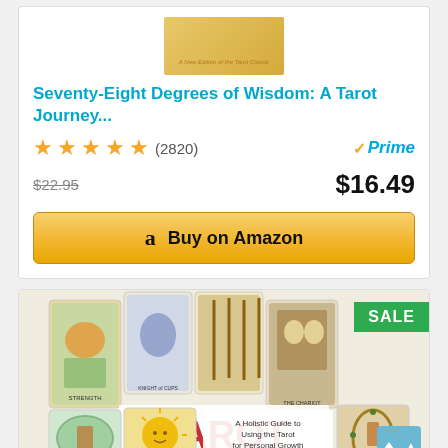[Figure (screenshot): Book cover thumbnail for Seventy-Eight Degrees of Wisdom with golden background and subtitle 'A New Edition of the Tarot Classic']
Seventy-Eight Degrees of Wisdom: A Tarot Journey...
★★★★★ (2820)   ✓Prime
$22.95   $16.49
Buy on Amazon
[Figure (photo): Book cover for 'Tarot for Beginners: A Holistic Guide to Using the Tarot for Personal Growth & Self Development' by Meg Hayertz, showing multiple tarot cards including Strength, Knight of Cups, The Chariot, The Sun, The World]
SALE